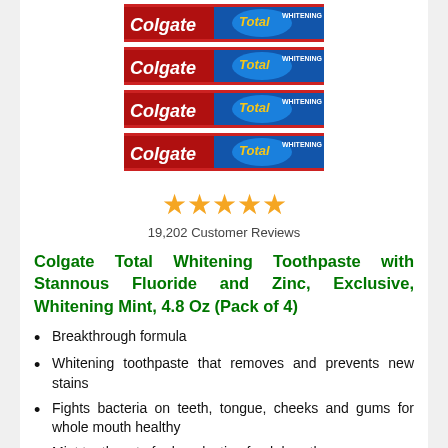[Figure (photo): Four stacked Colgate Total Whitening toothpaste boxes in blue and red packaging]
★★★★★ 19,202 Customer Reviews
Colgate Total Whitening Toothpaste with Stannous Fluoride and Zinc, Exclusive, Whitening Mint, 4.8 Oz (Pack of 4)
Breakthrough formula
Whitening toothpaste that removes and prevents new stains
Fights bacteria on teeth, tongue, cheeks and gums for whole mouth healthy
Mint toothpaste for long lasting fresh breath